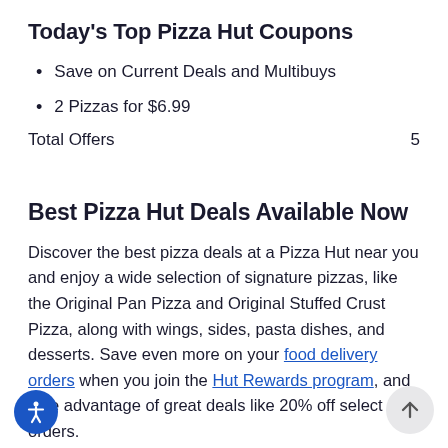Today's Top Pizza Hut Coupons
Save on Current Deals and Multibuys
2 Pizzas for $6.99
Total Offers                                        5
Best Pizza Hut Deals Available Now
Discover the best pizza deals at a Pizza Hut near you and enjoy a wide selection of signature pizzas, like the Original Pan Pizza and Original Stuffed Crust Pizza, along with wings, sides, pasta dishes, and desserts. Save even more on your food delivery orders when you join the Hut Rewards program, and take advantage of great deals like 20% off select orders.